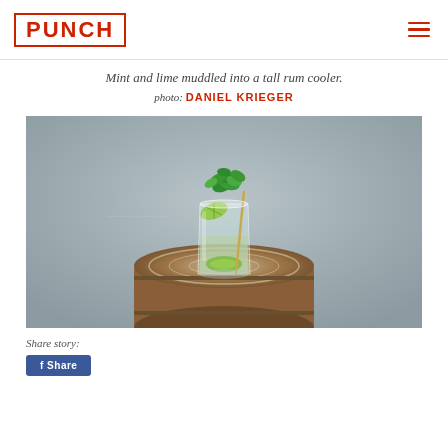PUNCH
Mint and lime muddled into a tall rum cooler.
photo: DANIEL KRIEGER
[Figure (photo): A tall clear glass containing a mojito-style cocktail with mint leaves and lime wedges, sitting on top of a rustic wooden barrel. The background is a muted gray-blue wall. The drink has green mint garnish overflowing the top and lime wedges inside and around the glass.]
Share story: